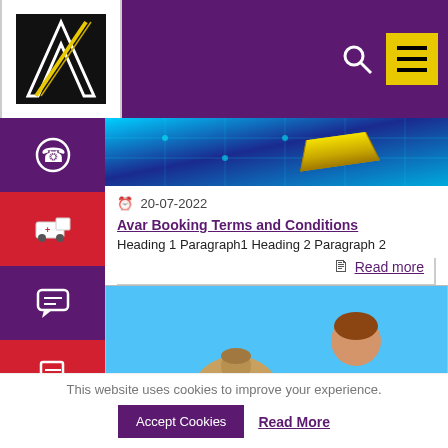[Figure (logo): Avar logo with stylized A in black and gold/yellow on white background]
[Figure (illustration): Purple header bar with search icon and yellow hamburger menu button]
[Figure (photo): Hero strip with blue circuit board background and gold ingot/bar]
20-07-2022
Avar Booking Terms and Conditions
Heading 1 Paragraph1 Heading 2 Paragraph 2
Read more
[Figure (illustration): Blue background illustration with businessman in black suit and red tie, and a money bag being handed over]
This website uses cookies to improve your experience.
Accept Cookies
Read More